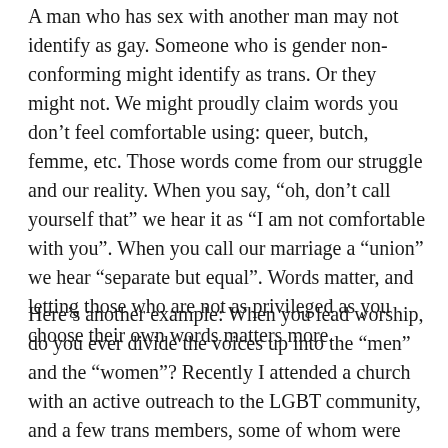A man who has sex with another man may not identify as gay. Someone who is gender non-conforming might identify as trans. Or they might not. We might proudly claim words you don't feel comfortable using: queer, butch, femme, etc. Those words come from our struggle and our reality. When you say, “oh, don’t call yourself that” we hear it as “I am not comfortable with you”. When you call our marriage a “union” we hear “separate but equal”. Words matter, and letting those who are not as privileged as you choose their own words matters more.
Here’s another example: When you lead worship, do you ever divide the voices up into the “men” and the “women”? Recently I attended a church with an active outreach to the LGBT community, and a few trans members, some of whom were still not out about the